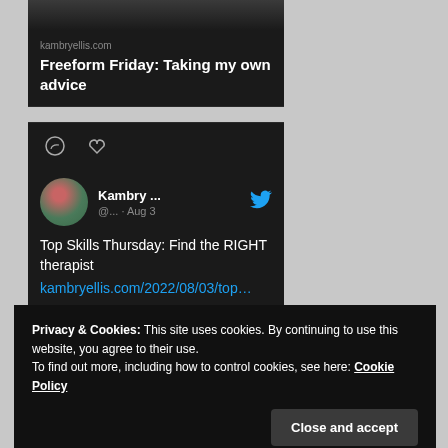[Figure (screenshot): Screenshot of a mobile website/app showing a blog post preview card and an embedded tweet card on a dark background, with a cookie consent banner overlay at the bottom.]
kambryellis.com
Freeform Friday: Taking my own advice
Kambry ... @... · Aug 3
Top Skills Thursday: Find the RIGHT therapist kambryellis.com/2022/08/03/top…
Privacy & Cookies: This site uses cookies. By continuing to use this website, you agree to their use.
To find out more, including how to control cookies, see here: Cookie Policy
Close and accept